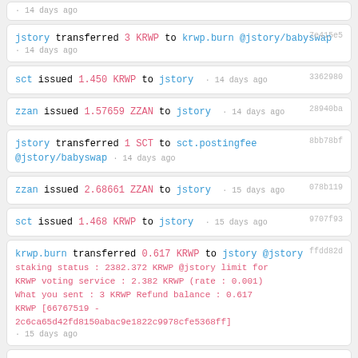· 14 days ago
jstory transferred 3 KRWP to krwp.burn @jstory/babyswap · 14 days ago [7e415e5]
sct issued 1.450 KRWP to jstory · 14 days ago [3362980]
zzan issued 1.57659 ZZAN to jstory · 14 days ago [28940ba]
jstory transferred 1 SCT to sct.postingfee @jstory/babyswap · 14 days ago [8bb78bf]
zzan issued 2.68661 ZZAN to jstory · 15 days ago [078b119]
sct issued 1.468 KRWP to jstory · 15 days ago [9707f93]
krwp.burn transferred 0.617 KRWP to jstory @jstory staking status : 2382.372 KRWP @jstory limit for KRWP voting service : 2.382 KRWP (rate : 0.001) What you sent : 3 KRWP Refund balance : 0.617 KRWP [66767519 - 2c6ca65d42fd8150abac9e1822c9978cfe5368ff] · 15 days ago [ffdd82d]
...